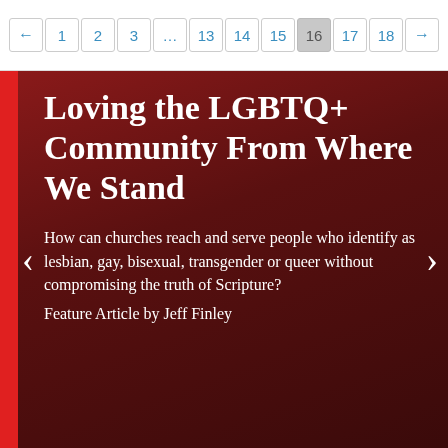← 1 2 3 … 13 14 15 16 17 18 →
Loving the LGBTQ+ Community From Where We Stand
How can churches reach and serve people who identify as lesbian, gay, bisexual, transgender or queer without compromising the truth of Scripture?
Feature Article by Jeff Finley